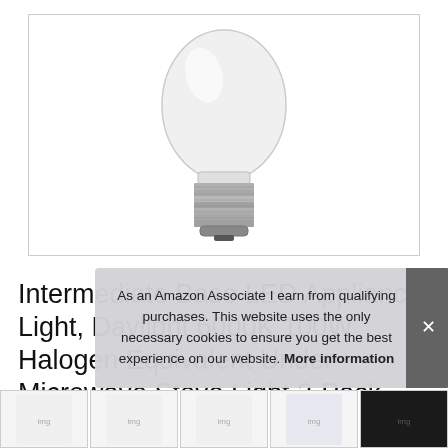[Figure (photo): Product photo of an intermediate base LED appliance bulb with E17 screw base, white body and metallic silver screw base, shown at an angle against a white background inside a bordered image box.]
Intermediate Base LED Appliance Light, Daylight 6000K 100W Halogen Equivalent Under-Microwave Stove Light 2-Pack, 8W Dimmable LED E17 Microwave Oven Bulb
#ad
As an Amazon Associate I earn from qualifying purchases. This website uses the only necessary cookies to ensure you get the best experience on our website. More information
[Figure (photo): Row of small product thumbnail images at the bottom of the page, showing various angles and packaging of the LED bulb product.]